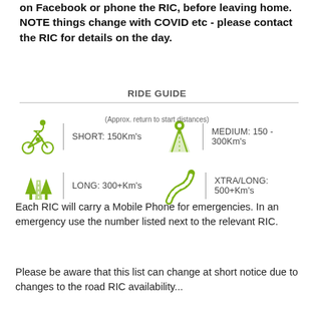on Facebook or phone the RIC, before leaving home. NOTE things change with COVID etc - please contact the RIC for details on the day.
RIDE GUIDE
[Figure (infographic): Ride guide icons showing four distance categories: SHORT <150Km's (cyclist icon), MEDIUM 150-300Km's (road with pin icon), LONG 300+Km's (trees and road icon), XTRA/LONG 500+Km's (winding road icon)]
(Approx. return to start distances)
Each RIC will carry a Mobile Phone for emergencies. In an emergency use the number listed next to the relevant RIC.
Please be aware that this list can change at short notice due to changes to the road RIC availability...